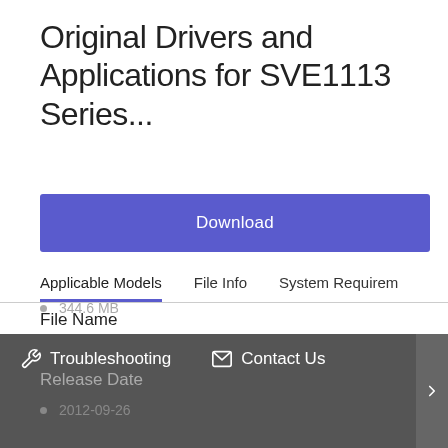Original Drivers and Applications for SVE1113 Series...
Download
Applicable Models	File Info	System Requirem
File Name
Notebook Utilities
File Version
1.0
File Size
344.6 MB
Release Date
Troubleshooting
Contact Us